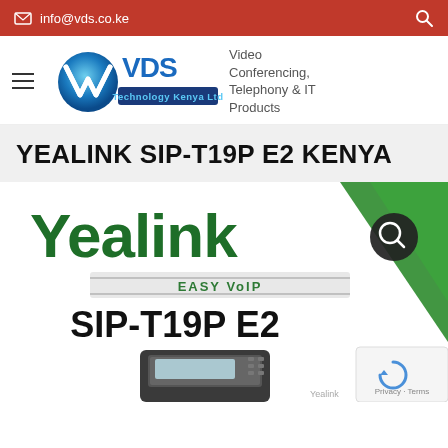info@vds.co.ke
[Figure (logo): VDS Technology Kenya Ltd logo with blue globe icon and VDS text]
Video Conferencing, Telephony & IT Products
YEALINK SIP-T19P E2 KENYA
[Figure (photo): Yealink Easy VoIP SIP-T19P E2 product image with Yealink logo in green, SIP-T19P E2 model name, and a photo of the phone device at the bottom]